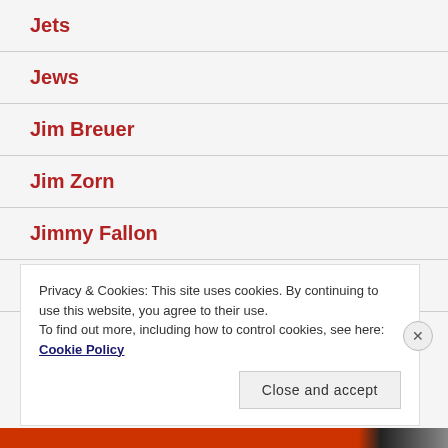Jets
Jews
Jim Breuer
Jim Zorn
Jimmy Fallon
John Boehner
Privacy & Cookies: This site uses cookies. By continuing to use this website, you agree to their use.
To find out more, including how to control cookies, see here: Cookie Policy
Close and accept